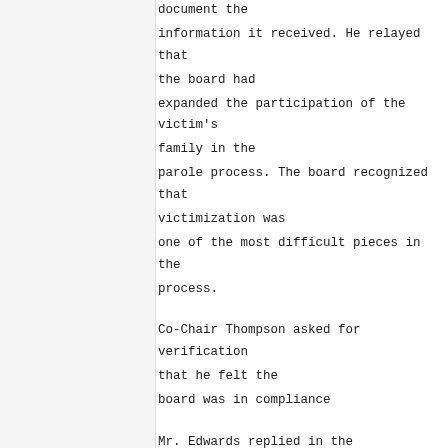document the information it received. He relayed that the board had expanded the participation of the victim's family in the parole process. The board recognized that victimization was one of the most difficult pieces in the process.

Co-Chair Thompson asked for verification that he felt the board was in compliance

Mr. Edwards replied in the affirmative.

Co-Chair Thompson read a question. He queried the efforts